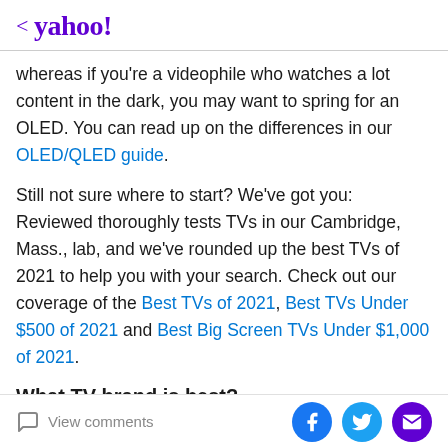< yahoo!
whereas if you're a videophile who watches a lot content in the dark, you may want to spring for an OLED. You can read up on the differences in our OLED/QLED guide.
Still not sure where to start? We've got you: Reviewed thoroughly tests TVs in our Cambridge, Mass., lab, and we've rounded up the best TVs of 2021 to help you with your search. Check out our coverage of the Best TVs of 2021, Best TVs Under $500 of 2021 and Best Big Screen TVs Under $1,000 of 2021.
What TV brand is best?
We test thousands of TVs in our labs in Cambridge, MA to find the best TVs possible, including every major release
View comments